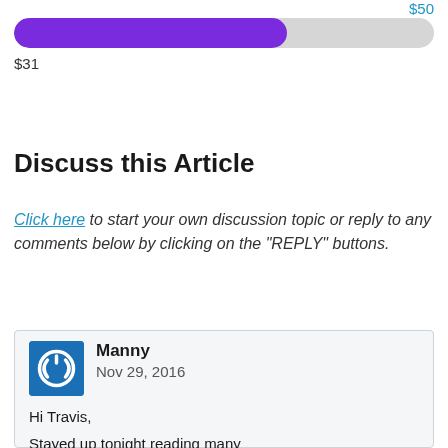$50
[Figure (infographic): Progress bar showing approximately 65% filled in purple, with gray background, indicating $31 of $50 goal reached]
$31
Discuss this Article
Click here to start your own discussion topic or reply to any comments below by clicking on the "REPLY" buttons.
Manny
Nov 29, 2016

Hi Travis,

Stayed up tonight reading many